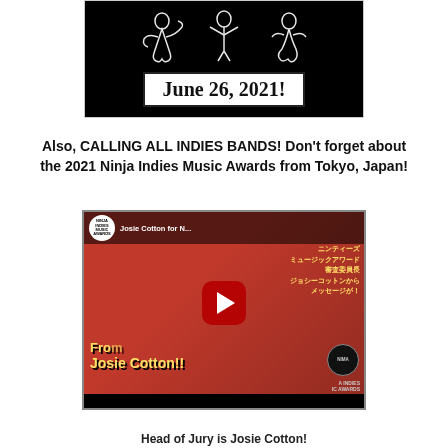[Figure (screenshot): Black background image with white illustrated figures and a white box showing 'June 26, 2021!']
Also, CALLING ALL INDIES BANDS! Don't forget about the 2021 Ninja Indies Music Awards from Tokyo, Japan!
[Figure (screenshot): YouTube video thumbnail for 'Josie Cotton for Ninja Indies Music Awards' featuring Josie Cotton on a red background with Japanese text and yellow Josie Cotton branding, with a YouTube play button.]
Head of Jury is Josie Cotton!